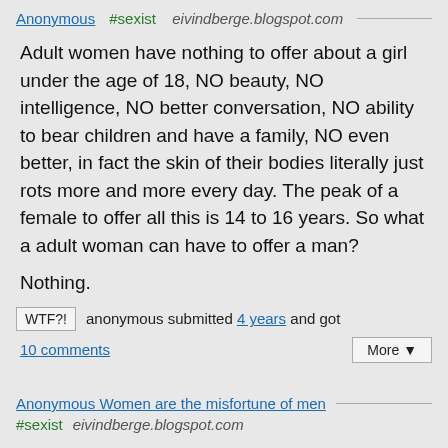Anonymous #sexist eivindberge.blogspot.com
Adult women have nothing to offer about a girl under the age of 18, NO beauty, NO intelligence, NO better conversation, NO ability to bear children and have a family, NO even better, in fact the skin of their bodies literally just rots more and more every day. The peak of a female to offer all this is 14 to 16 years. So what a adult woman can have to offer a man?
Nothing.
WTF?! anonymous submitted 4 years and got
10 comments
More ▼
Anonymous Women are the misfortune of men
#sexist   eivindberge.blogspot.com